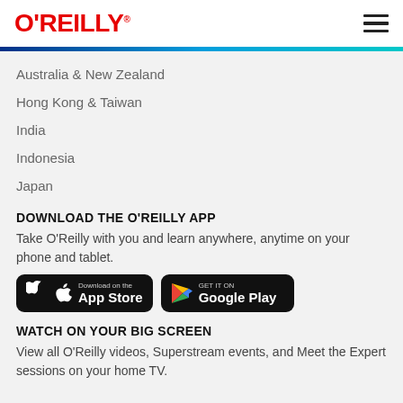O'REILLY®
Australia & New Zealand
Hong Kong & Taiwan
India
Indonesia
Japan
DOWNLOAD THE O'REILLY APP
Take O'Reilly with you and learn anywhere, anytime on your phone and tablet.
[Figure (screenshot): Download on the App Store button and GET IT ON Google Play button]
WATCH ON YOUR BIG SCREEN
View all O'Reilly videos, Superstream events, and Meet the Expert sessions on your home TV.